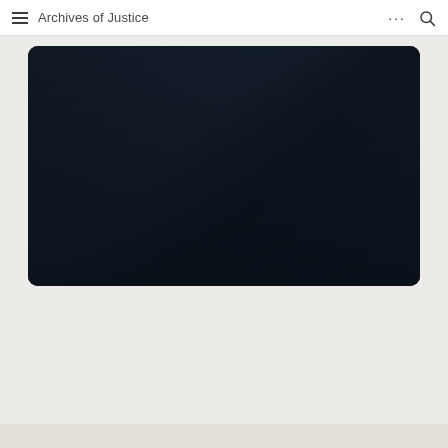Archives of Justice
[Figure (photo): Dark, nearly black rectangular image with rounded corners, appearing to show a very dark scene with subtle gradients, possibly a night scene or darkened interior.]